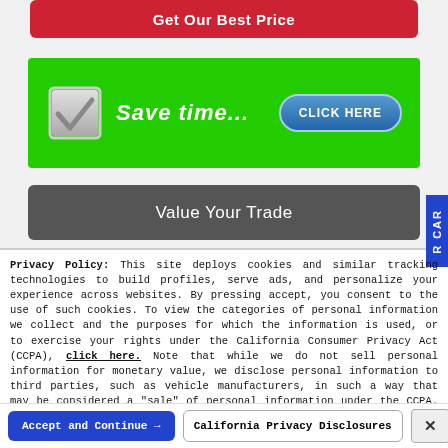[Figure (screenshot): Red 'Get Our Best Price' button at top of dealer website page]
[Figure (infographic): Green banner with checkbox icon, 'Save time...' text, and 'CLICK HERE' blue button]
[Figure (screenshot): Dark gray 'Value Your Trade' button]
Privacy Policy: This site deploys cookies and similar tracking technologies to build profiles, serve ads, and personalize your experience across websites. By pressing accept, you consent to the use of such cookies. To view the categories of personal information we collect and the purposes for which the information is used, or to exercise your rights under the California Consumer Privacy Act (CCPA), click here. Note that while we do not sell personal information for monetary value, we disclose personal information to third parties, such as vehicle manufacturers, in such a way that may be considered a "sale" of personal information under the CCPA. To direct us to stop the sale of your personal information, or to re-access these settings or disclosures at anytime, click the following icon or link:
Do Not Sell My Personal Information
Language: English
Powered by ComplyAuto
Accept and Continue → | California Privacy Disclosures | ×